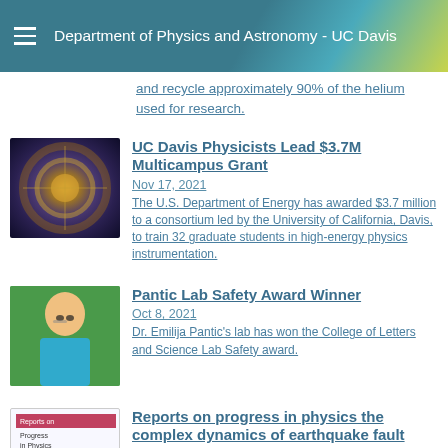Department of Physics and Astronomy - UC Davis
and recycle approximately 90% of the helium used for research.
[Figure (photo): Photo of a particle collider or detector, circular mechanical structure viewed from above]
UC Davis Physicists Lead $3.7M Multicampus Grant
Nov 17, 2021
The U.S. Department of Energy has awarded $3.7 million to a consortium led by the University of California, Davis, to train 32 graduate students in high-energy physics instrumentation.
[Figure (photo): Photo of Dr. Emilija Pantic, a woman with glasses outdoors in front of green foliage, wearing a blue shirt]
Pantic Lab Safety Award Winner
Oct 8, 2021
Dr. Emilija Pantic's lab has won the College of Letters and Science Lab Safety award.
[Figure (photo): Cover image of Reports on Progress in Physics journal]
Reports on progress in physics the complex dynamics of earthquake fault